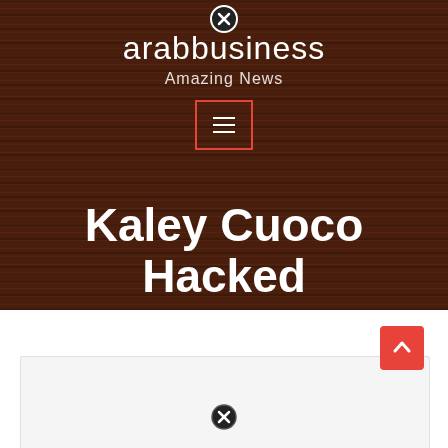[Figure (screenshot): Wood-textured dark brown header background for arabbusiness website]
arabbusiness
Amazing News
[Figure (other): Hamburger menu button with red border]
Kaley Cuoco Hacked
[Figure (other): Scroll-to-top orange/red button with upward arrow]
[Figure (other): Close (X) icon at bottom of card area]